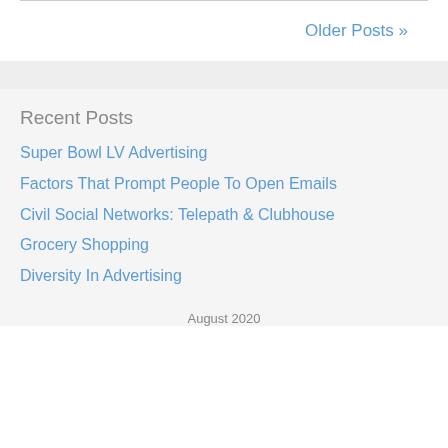Older Posts »
Recent Posts
Super Bowl LV Advertising
Factors That Prompt People To Open Emails
Civil Social Networks: Telepath & Clubhouse
Grocery Shopping
Diversity In Advertising
August 2020